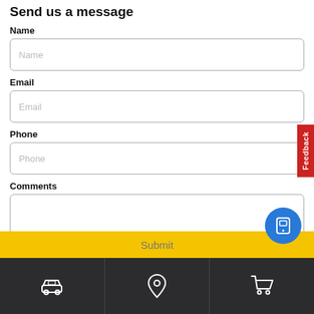Send us a message
Name
[Figure (screenshot): Name input field with placeholder text 'Name']
Email
[Figure (screenshot): Email input field with placeholder text 'Email']
Phone
[Figure (screenshot): Phone input field with placeholder text 'Phone']
Comments
[Figure (screenshot): Comments textarea field]
[Figure (screenshot): Submit button (yellow background)]
[Figure (infographic): Bottom navigation bar with car icon, location pin icon, and shopping cart icon on dark background. Blue floating button with tablet/phone icon.]
[Figure (infographic): Red Feedback vertical tab on right side]